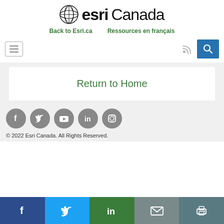[Figure (logo): Esri Canada logo with globe icon, bold 'esri' and light 'Canada' text]
Back to Esri.ca    Ressources en français
[Figure (screenshot): Navigation bar with hamburger menu on left, RSS and search icons on right]
Return to Home
[Figure (infographic): Grey circular social media icons: Facebook, Twitter, YouTube, LinkedIn, Instagram]
© 2022 Esri Canada. All Rights Reserved.
[Figure (infographic): Bottom share bar with Facebook, Twitter, LinkedIn, Email, and Print icons]